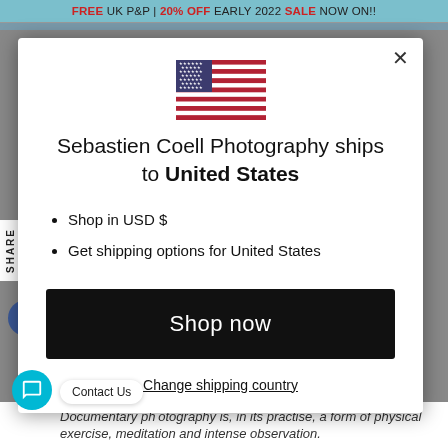FREE UK P&P | 20% OFF EARLY 2022 SALE NOW ON!!
[Figure (illustration): US flag emoji / icon]
Sebastien Coell Photography ships to United States
Shop in USD $
Get shipping options for United States
Shop now
Change shipping country
Documentary photography is, in its practise, a form of physical exercise, meditation and intense observation.